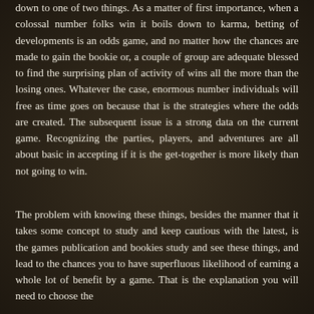down to one of two things. As a matter of first importance, when a colossal number folks win it boils down to karma, betting of developments is an odds game, and no matter how the chances are made to gain the bookie or, a couple of group are adequate blessed to find the surprising plan of activity of wins all the more than the losing ones. Whatever the case, enormous number individuals will free as time goes on because that is the strategies where the odds are created. The subsequent issue is a strong data on the current game. Recognizing the parties, players, and adventures are all about basic in accepting if it is the get-together is more likely than not going to win.
The problem with knowing these things, besides the manner that it takes some concept to study and keep cautious with the latest, is the games publication and bookies study and see these things, and lead to the chances you to have superfluous likelihood of earning a whole lot of benefit by a game. That is the explanation you will need to choose the